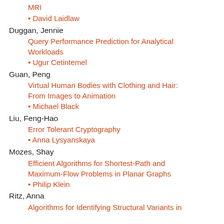MRI
• David Laidlaw
Duggan, Jennie
Query Performance Prediction for Analytical Workloads
• Ugur Cetintemel
Guan, Peng
Virtual Human Bodies with Clothing and Hair: From Images to Animation
• Michael Black
Liu, Feng-Hao
Error Tolerant Cryptography
• Anna Lysyanskaya
Mozes, Shay
Efficient Algorithms for Shortest-Path and Maximum-Flow Problems in Planar Graphs
• Philip Klein
Ritz, Anna
Algorithms for Identifying Structural Variants in